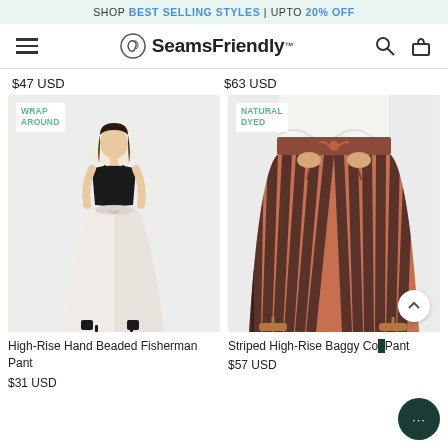SHOP BEST SELLING STYLES | UPTO 20% OFF
[Figure (logo): SeamsFriendly logo with navigation icons (hamburger menu, search, cart)]
$47 USD    $63 USD
[Figure (photo): Woman wearing a white high-rise wrap around fisherman pant with black top, with WRAP AROUND tag]
[Figure (photo): Close-up of striped high-rise baggy cotton pant in dark brown/pink stripes, with NATURAL DYED tag]
High-Rise Hand Beaded Fisherman Pant
$31 USD
Striped High-Rise Baggy Co... Pant
$57 USD